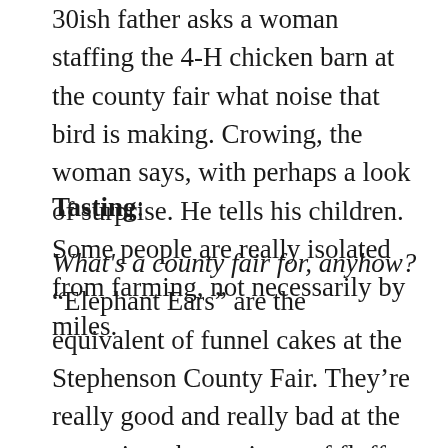30ish father asks a woman staffing the 4-H chicken barn at the county fair what noise that bird is making. Crowing, the woman says, with perhaps a look of surprise. He tells his children. Some people are really isolated from farming, not necessarily by miles.
Tasting:
What's a county fair for, anyhow? “Elephant Ears” are the equivalent of funnel cakes at the Stephenson County Fair. They’re really good and really bad at the same time, huge pieces of fluffy fried dough covered with cinnamon and sugar and whatever else you desire. Add to that a corndog and one of the best sweet-spicy barbecue sandwiches ever from a local church, and you’re prepared to die, sooner perhaps than later.